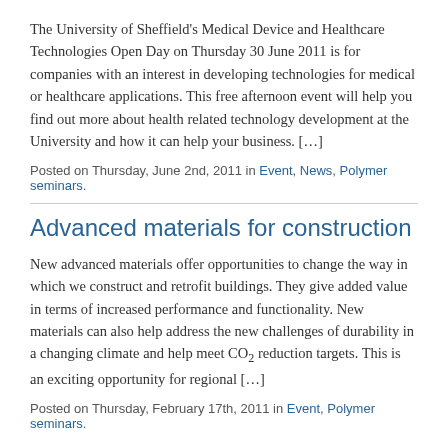The University of Sheffield's Medical Device and Healthcare Technologies Open Day on Thursday 30 June 2011 is for companies with an interest in developing technologies for medical or healthcare applications. This free afternoon event will help you find out more about health related technology development at the University and how it can help your business. […]
Posted on Thursday, June 2nd, 2011 in Event, News, Polymer seminars.
Advanced materials for construction
New advanced materials offer opportunities to change the way in which we construct and retrofit buildings. They give added value in terms of increased performance and functionality. New materials can also help address the new challenges of durability in a changing climate and help meet CO2 reduction targets. This is an exciting opportunity for regional […]
Posted on Thursday, February 17th, 2011 in Event, Polymer seminars.